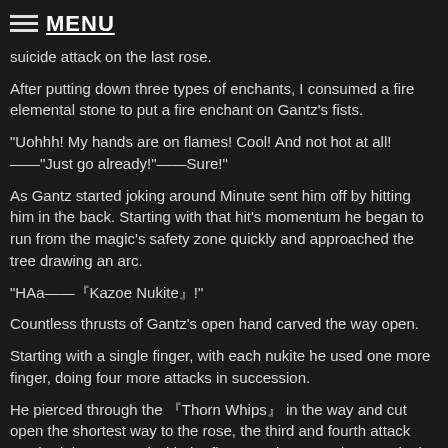MENU
suicide attack on the last rose.
After putting down three types of enchants, I consumed a fire elemental stone to put a fire enchant on Gantz's fists.
"Uohhh! My hands are on flames! Cool! And not hot at all! ——"Just go already!"——Sure!"
As Gantz started joking around Minute sent him off by hitting him in the back. Starting with that hit's momentum he began to run from the magic's safety zone quickly and approached the tree drawing an arc.
"HAa——『Kazoe Nukite』!"
Countless thrusts of Gantz's open hand carved the way open.
Starting with a single finger, with each nukite he used one more finger, doing four more attacks in succession.
He pierced through the 『Thorn Whips』 in the way and cut open the shortest way to the rose, the third and fourth attack touched the rose and with the flame enchant passing onto it, the roses scattered in middle of flames.